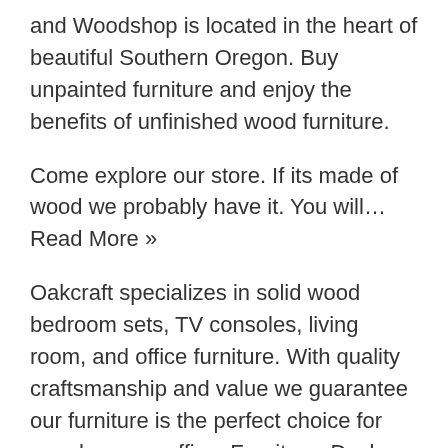and Woodshop is located in the heart of beautiful Southern Oregon. Buy unpainted furniture and enjoy the benefits of unfinished wood furniture.
Come explore our store. If its made of wood we probably have it. You will… Read More »
Oakcraft specializes in solid wood bedroom sets, TV consoles, living room, and office furniture. With quality craftsmanship and value we guarantee our furniture is the perfect choice for your home or office. Furniture, Desks, TV Stands, Dressers, Bookcases, Medford Oregon.
Our furniture is built entirely in Corvallis Oregon. We feature furniture for every-room in your house crafted from North American Manufacturers. Top Sellers Most Popular Price Low to High Price High